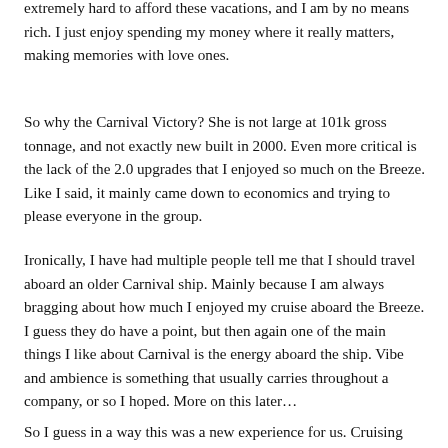extremely hard to afford these vacations, and I am by no means rich. I just enjoy spending my money where it really matters, making memories with love ones.
So why the Carnival Victory? She is not large at 101k gross tonnage, and not exactly new built in 2000. Even more critical is the lack of the 2.0 upgrades that I enjoyed so much on the Breeze. Like I said, it mainly came down to economics and trying to please everyone in the group.
Ironically, I have had multiple people tell me that I should travel aboard an older Carnival ship. Mainly because I am always bragging about how much I enjoyed my cruise aboard the Breeze. I guess they do have a point, but then again one of the main things I like about Carnival is the energy aboard the ship. Vibe and ambience is something that usually carries throughout a company, or so I hoped. More on this later…
So I guess in a way this was a new experience for us. Cruising without all the frills and thrills, would bring us back to what got us